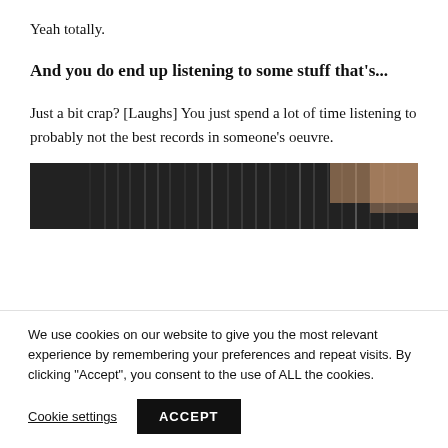Yeah totally.
And you do end up listening to some stuff that's...
Just a bit crap? [Laughs] You just spend a lot of time listening to probably not the best records in someone's oeuvre.
[Figure (photo): A dark photo showing vinyl records being flipped through, with a person visible in the background.]
We use cookies on our website to give you the most relevant experience by remembering your preferences and repeat visits. By clicking "Accept", you consent to the use of ALL the cookies.
Cookie settings   ACCEPT